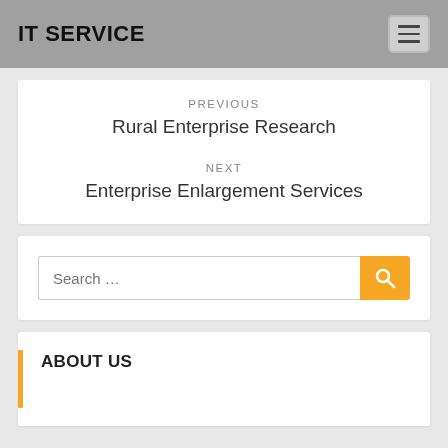IT SERVICE
PREVIOUS
Rural Enterprise Research
NEXT
Enterprise Enlargement Services
Search …
ABOUT US